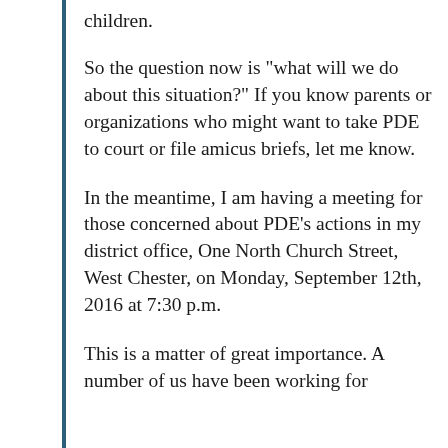children.
So the question now is “what will we do about this situation?”  If you know parents or organizations who might want to take PDE to court or file amicus briefs, let me know.
In the meantime, I am having a meeting for those concerned about PDE’s actions in my district office, One North Church Street, West Chester, on Monday, September 12th, 2016 at 7:30 p.m.
This is a matter of great importance.  A number of us have been working for